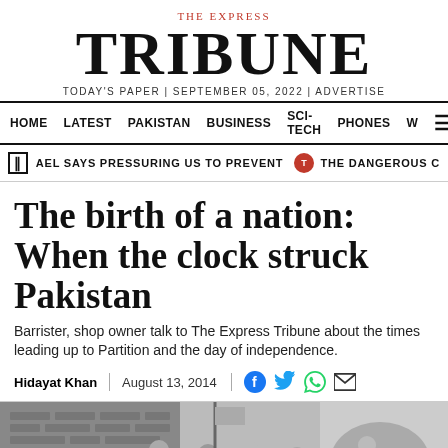THE EXPRESS TRIBUNE
TODAY'S PAPER | SEPTEMBER 05, 2022 | ADVERTISE
HOME  LATEST  PAKISTAN  BUSINESS  SCI-TECH  PHONES  W  ☰
▌ RAEL SAYS PRESSURING US TO PREVENT IRAN NUCLEAR DEAL  🔴 THE DANGEROUS C
The birth of a nation: When the clock struck Pakistan
Barrister, shop owner talk to The Express Tribune about the times leading up to Partition and the day of independence.
Hidayat Khan  |  August 13, 2014
[Figure (photo): Black and white historical photograph related to Pakistan's independence/Partition era, showing people in traditional dress]